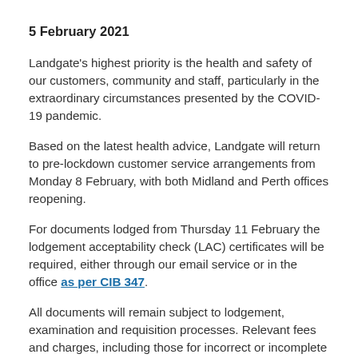5 February 2021
Landgate's highest priority is the health and safety of our customers, community and staff, particularly in the extraordinary circumstances presented by the COVID-19 pandemic.
Based on the latest health advice, Landgate will return to pre-lockdown customer service arrangements from Monday 8 February, with both Midland and Perth offices reopening.
For documents lodged from Thursday 11 February the lodgement acceptability check (LAC) certificates will be required, either through our email service or in the office as per CIB 347.
All documents will remain subject to lodgement, examination and requisition processes. Relevant fees and charges, including those for incorrect or incomplete